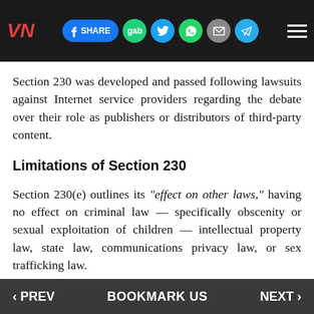VN | SHARE | gab | Twitter | WhatsApp | Email | Telegram | Menu
Section 230 was developed and passed following lawsuits against Internet service providers regarding the debate over their role as publishers or distributors of third-party content.
Limitations of Section 230
Section 230(e) outlines its “effect on other laws,” having no effect on criminal law — specifically obscenity or sexual exploitation of children — intellectual property law, state law, communications privacy law, or sex trafficking law.
The definition of “publishing” under the Communications Decency Act is also relevant, with the Ninth Circuit ruling that “Publication involves reviewing, editing, and deciding whether to publish or to withhold from publication third-
‹ PREV    BOOKMARK US    NEXT ›